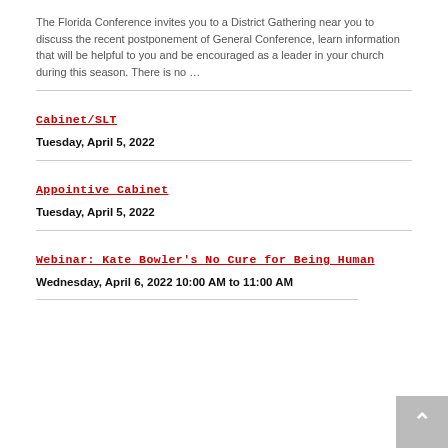The Florida Conference invites you to a District Gathering near you to discuss the recent postponement of General Conference, learn information that will be helpful to you and be encouraged as a leader in your church during this season. There is no …
Cabinet/SLT
Tuesday, April 5, 2022
Appointive Cabinet
Tuesday, April 5, 2022
Webinar: Kate Bowler's No Cure for Being Human
Wednesday, April 6, 2022 10:00 AM to 11:00 AM